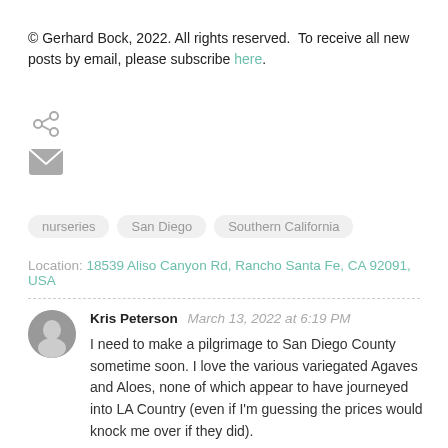© Gerhard Bock, 2022. All rights reserved.  To receive all new posts by email, please subscribe here.
[Figure (illustration): Share icon (less-than style arrow icon for sharing)]
[Figure (illustration): Email/envelope icon for subscribing by email]
nurseries
San Diego
Southern California
Location: 18539 Aliso Canyon Rd, Rancho Santa Fe, CA 92091, USA
Kris Peterson  March 13, 2022 at 6:19 PM
I need to make a pilgrimage to San Diego County sometime soon. I love the various variegated Agaves and Aloes, none of which appear to have journeyed into LA Country (even if I'm guessing the prices would knock me over if they did).